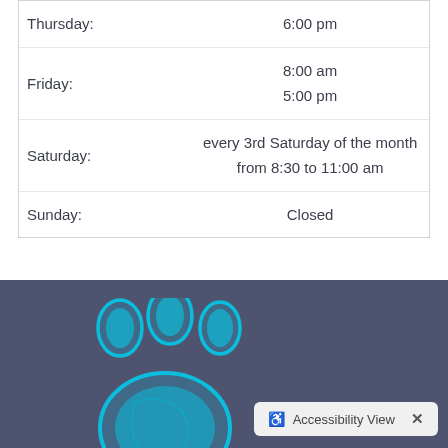| Day | Hours |
| --- | --- |
| Thursday: | 6:00 pm |
| Friday: | 8:00 am
5:00 pm |
| Saturday: | every 3rd Saturday of the month
from 8:30 to 11:00 am |
| Sunday: | Closed |
[Figure (illustration): Cyan/turquoise paw print illustration on a dark slate-blue background, positioned in the lower-left of the footer section.]
Accessibility View  ×